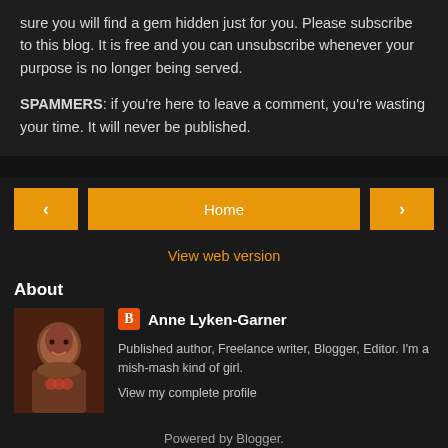sure you will find a gem hidden just for you. Please subscribe to this blog. It is free and you can unsubscribe whenever your purpose is no longer being served.
SPAMMERS: if you're here to leave a comment, you're wasting your time. It will never be published.
Home
View web version
About
Anne Lyken-Garner
Published author, Freelance writer, Blogger, Editor. I'm a mish-mash kind of girl.
View my complete profile
Powered by Blogger.